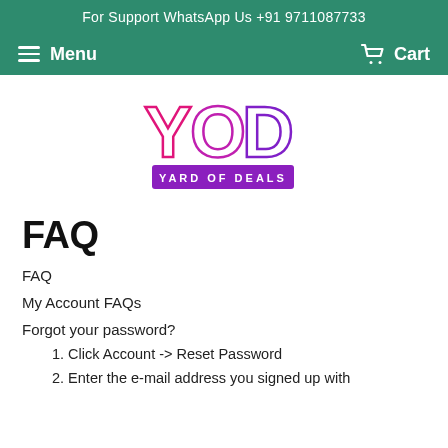For Support WhatsApp Us +91 9711087733
Menu   Cart
[Figure (logo): YOD - Yard of Deals logo with pink/magenta outlined letters YOD and a purple banner reading YARD OF DEALS]
FAQ
FAQ
My Account FAQs
Forgot your password?
Click Account -> Reset Password
Enter the e-mail address you signed up with